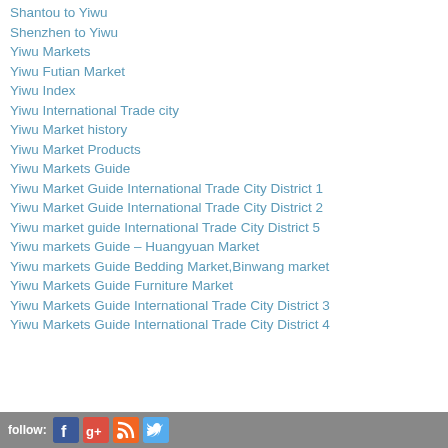Shantou to Yiwu
Shenzhen to Yiwu
Yiwu Markets
Yiwu Futian Market
Yiwu Index
Yiwu International Trade city
Yiwu Market history
Yiwu Market Products
Yiwu Markets Guide
Yiwu Market Guide International Trade City District 1
Yiwu Market Guide International Trade City District 2
Yiwu market guide International Trade City District 5
Yiwu markets Guide – Huangyuan Market
Yiwu markets Guide Bedding Market,Binwang market
Yiwu Markets Guide Furniture Market
Yiwu Markets Guide International Trade City District 3
Yiwu Markets Guide International Trade City District 4
follow: